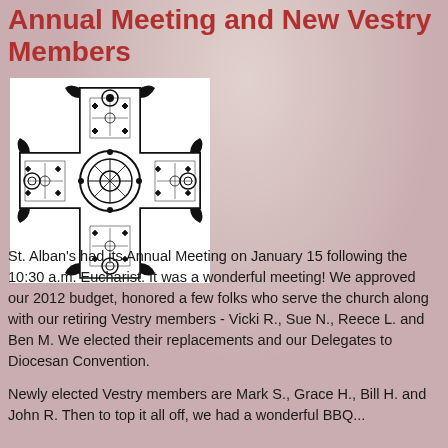Annual Meeting and New Vestry Members
[Figure (illustration): Black and white ornate Celtic cross illustration on white background]
St. Alban's had its Annual Meeting on January 15 following the 10:30 a.m. Eucharist. It was a wonderful meeting! We approved our 2012 budget, honored a few folks who serve the church along with our retiring Vestry members  - Vicki R., Sue N., Reece L. and Ben M. We elected their replacements and our Delegates to Diocesan Convention.
Newly elected Vestry members are Mark S., Grace H., Bill H. and John R. Then to top it all off, we had a wonderful BBQ...